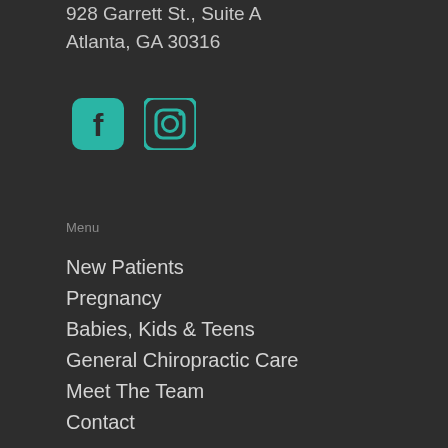928 Garrett St., Suite A
Atlanta, GA 30316
[Figure (other): Facebook and Instagram social media icons in teal/turquoise color]
Menu
New Patients
Pregnancy
Babies, Kids & Teens
General Chiropractic Care
Meet The Team
Contact